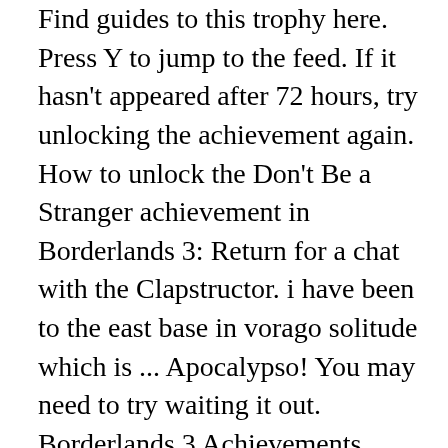Find guides to this trophy here. Press Y to jump to the feed. If it hasn't appeared after 72 hours, try unlocking the achievement again. How to unlock the Don't Be a Stranger achievement in Borderlands 3: Return for a chat with the Clapstructor. i have been to the east base in vorago solitude which is ... Apocalypso! You may need to try waiting it out. Borderlands 3 Achievements. Xbox Achievements is not affiliated with Microsoft or Xbox, it is owned and run by Resero Network Ltd. All other registered trademarks are the property of their respective owners. 100% Upvoted. In other words, if the achievement "A New Friend" is not unlocking for you, just go ... to the point, no achievements are unlocking. Win a live grenade